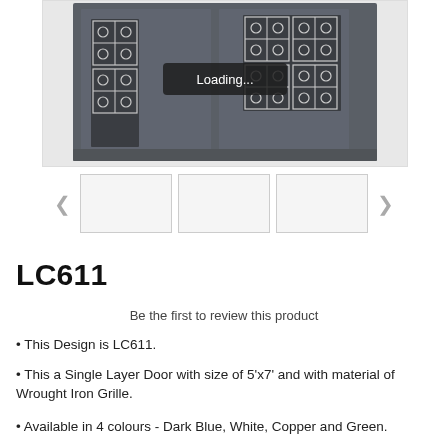[Figure (photo): A dark grey double-panel front door with decorative wrought iron grille panels showing geometric cross/floral patterns. A 'Loading...' tooltip overlay appears in the center of the image.]
[Figure (screenshot): Three blank thumbnail image placeholders with left and right navigation arrows for a product image carousel.]
LC611
Be the first to review this product
• This Design is LC611.
• This a Single Layer Door with size of 5'x7' and with material of Wrought Iron Grille.
• Available in 4 colours - Dark Blue, White, Copper and Green.